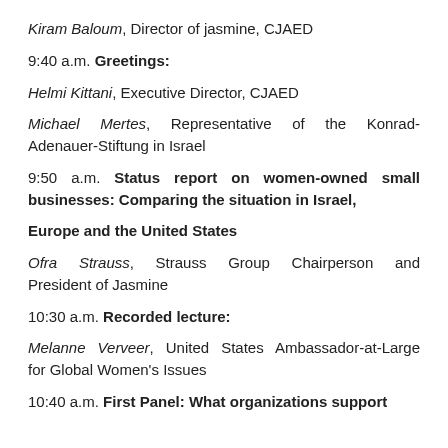Kiram Baloum, Director of jasmine, CJAED
9:40 a.m. Greetings:
Helmi Kittani, Executive Director, CJAED
Michael Mertes, Representative of the Konrad-Adenauer-Stiftung in Israel
9:50 a.m. Status report on women-owned small businesses: Comparing the situation in Israel, Europe and the United States
Ofra Strauss, Strauss Group Chairperson and President of Jasmine
10:30 a.m. Recorded lecture:
Melanne Verveer, United States Ambassador-at-Large for Global Women's Issues
10:40 a.m. First Panel: What organizations support